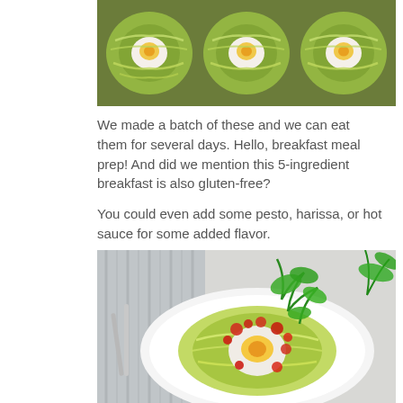[Figure (photo): Top-down photo of several zucchini noodle nests with baked eggs in the center, arranged on a baking tray, viewed from above. The noodles are yellow-green and the eggs show cooked whites with yellow yolks.]
We made a batch of these and we can eat them for several days.  Hello, breakfast meal prep!  And did we mention this 5-ingredient breakfast is also gluten-free?
You could even add some pesto, harissa, or hot sauce for some added flavor.
[Figure (photo): Close-up photo of a zucchini noodle nest with a baked egg in the center, topped with red harissa or hot sauce and fresh green parsley leaves, served on a white plate. Silver fork and knife visible on the left, fresh herbs on the right.]